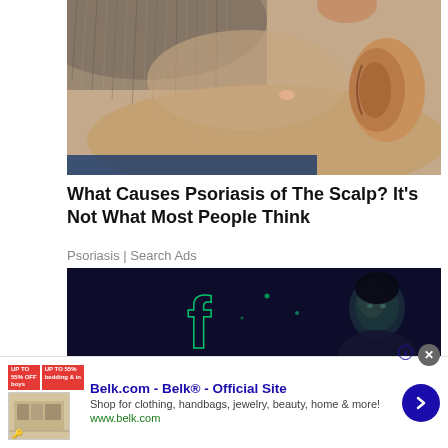[Figure (photo): Close-up photo of the back of a person's head and neck showing scalp and ear, gray/silver hair visible, skin showing possible scalp condition]
What Causes Psoriasis of The Scalp? It’s Not What Most People Think
Psoriasis | Search Ads
[Figure (photo): Dark photo of a person at a stage or event with neon green Facebook logo/letters glowing in background, dark blue ambient lighting]
Belk.com - Belk® - Official Site
Shop for clothing, handbags, jewelry, beauty, home & more!
www.belk.com